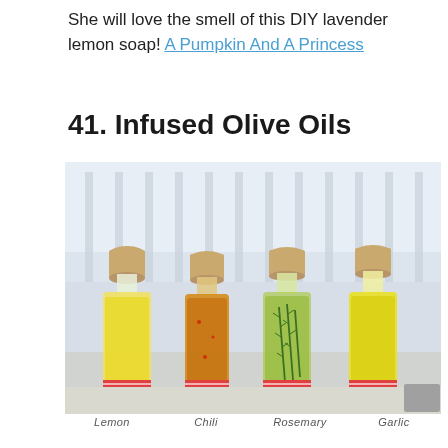She will love the smell of this DIY lavender lemon soap! A Pumpkin And A Princess
41. Infused Olive Oils
[Figure (photo): Four glass bottles with cork stoppers containing infused olive oils — lemon (pale yellow), chili (amber/orange with red pepper flakes), rosemary (golden green with herb sprigs), and garlic (bright yellow) — displayed in front of a blurred white window/railing background. Red and white checkered labels at the base of each bottle. Labels below read: LEMON, CHILI, ROSEMARY, GARLIC.]